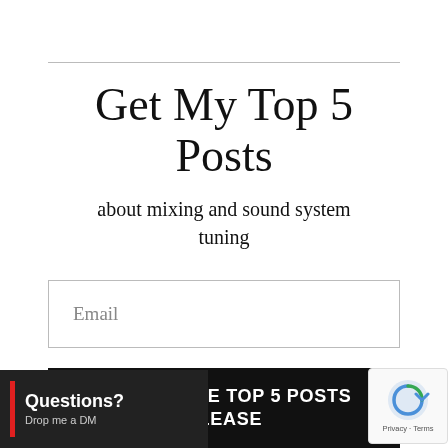Get My Top 5 Posts
about mixing and sound system tuning
Email
GIVE ME THE TOP 5 POSTS PLEASE
Questions? Drop me a DM